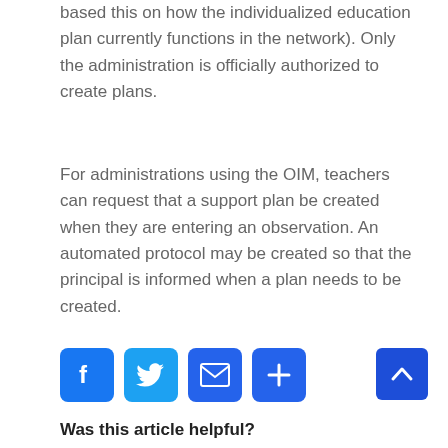based this on how the individualized education plan currently functions in the network). Only the administration is officially authorized to create plans.
For administrations using the OIM, teachers can request that a support plan be created when they are entering an observation. An automated protocol may be created so that the principal is informed when a plan needs to be created.
[Figure (infographic): Four social sharing buttons: Facebook (blue), Twitter (light blue), Email (blue envelope), Share/Plus (blue)]
[Figure (infographic): Scroll to top button with upward chevron arrow, blue background]
Was this article helpful?